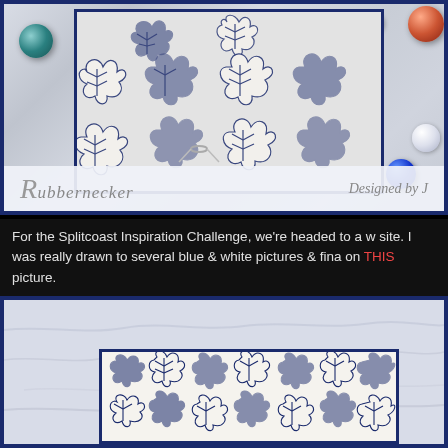[Figure (photo): Top photo showing a handmade card with navy blue and white leaf/maple stamped pattern, surrounded by decorative glass marbles on a marble surface. A Rubbernecker banner with 'Rubbernecker' and 'Designed by J' text is visible at the bottom of the image.]
For the Splitcoast Inspiration Challenge, we're headed to a w site. I was really drawn to several blue & white pictures & fina on THIS picture.
[Figure (photo): Bottom photo showing another view of the handmade card with navy blue and white leaf/maple stamped pattern on a marble surface background.]